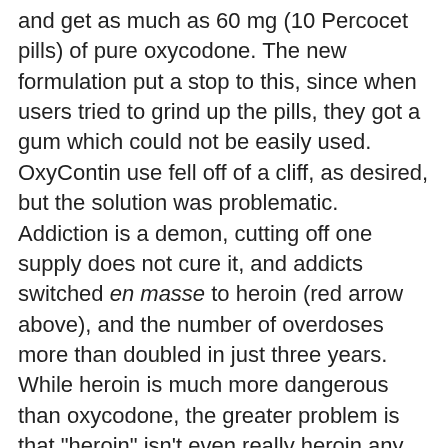and get as much as 60 mg (10 Percocet pills) of pure oxycodone. The new formulation put a stop to this, since when users tried to grind up the pills, they got a gum which could not be easily used. OxyContin use fell off of a cliff, as desired, but the solution was problematic. Addiction is a demon, cutting off one supply does not cure it, and addicts switched en masse to heroin (red arrow above), and the number of overdoses more than doubled in just three years. While heroin is much more dangerous than oxycodone, the greater problem is that "heroin" isn't even really heroin any more. It has been largely replaced by fentanyl, and fentanyl is not only far more dangerous than heroin(1), but it can be synthesized very easily by any trained organic chemist. Most of it comes from labs in China and Mexico. And, since it is so much more potent than heroin, far less needs to be smuggled into the U.S. It is this extreme potency that makes it the devil in the room. A fatal dose of fentanyl is about 2 milligrams — roughly equal to the weight a few grains of salt. This is why it is so